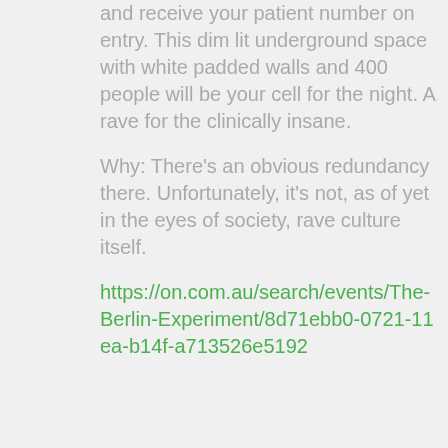and receive your patient number on entry. This dim lit underground space with white padded walls and 400 people will be your cell for the night. A rave for the clinically insane.
Why: There's an obvious redundancy there. Unfortunately, it's not, as of yet in the eyes of society, rave culture itself.
https://on.com.au/search/events/The-Berlin-Experiment/8d71ebb0-0721-11ea-b14f-a713526e5192